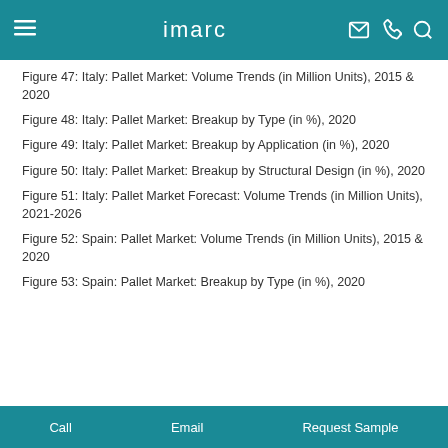imarc
Figure 47: Italy: Pallet Market: Volume Trends (in Million Units), 2015 & 2020
Figure 48: Italy: Pallet Market: Breakup by Type (in %), 2020
Figure 49: Italy: Pallet Market: Breakup by Application (in %), 2020
Figure 50: Italy: Pallet Market: Breakup by Structural Design (in %), 2020
Figure 51: Italy: Pallet Market Forecast: Volume Trends (in Million Units), 2021-2026
Figure 52: Spain: Pallet Market: Volume Trends (in Million Units), 2015 & 2020
Figure 53: Spain: Pallet Market: Breakup by Type (in %), 2020
Call   Email   Request Sample